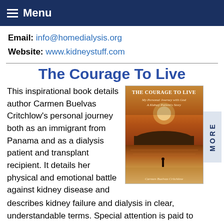Menu
Email: info@homedialysis.org
Website: www.kidneystuff.com
The Courage To Live
This inspirational book details author Carmen Buelvas Critchlow's personal journey both as an immigrant from Panama and as a dialysis patient and transplant recipient. It details her physical and emotional battle against kidney disease and describes kidney failure and dialysis in clear, understandable terms. Special attention is paid to
[Figure (photo): Book cover of 'The Courage To Live' by Carmen Buelvas Critchlow, showing a sunset beach scene with a silhouette figure by the water. Subtitle reads 'My Personal Journey with God – A Kidney Patient's Story']